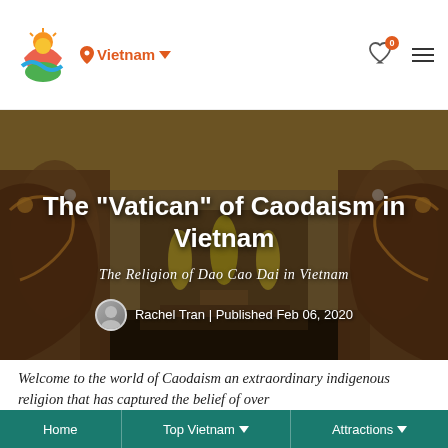Vietnam (location selector) | Heart icon with badge 0 | Hamburger menu
[Figure (photo): Caodaism temple interior with ornate dragon pillars and altar, warm orange-brown tones]
The "Vatican" of Caodaism in Vietnam
The Religion of Dao Cao Dai in Vietnam
Rachel Tran | Published Feb 06, 2020
Home | Top Vietnam | Attractions
Welcome to the world of Caodaism an extraordinary indigenous religion that has captured the belief of over